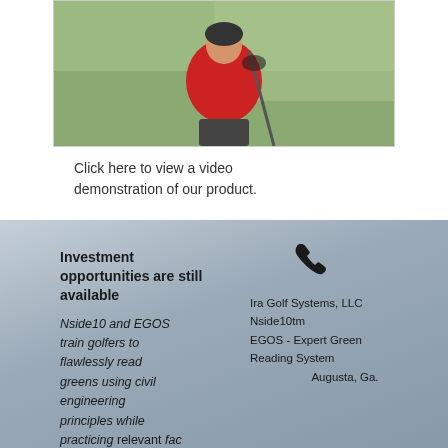[Figure (photo): Photo of a golfer in red shirt on a golf course]
Click here to view a video demonstration of our product.
Investment opportunities are still available
Nside10 and EGOS train golfers to flawlessly read greens using civil engineering principles while practicing relevant face alignment to ball
Ira Golf Systems, LLC
Nside10tm
EGOS - Expert Green Reading System
Augusta, Ga.